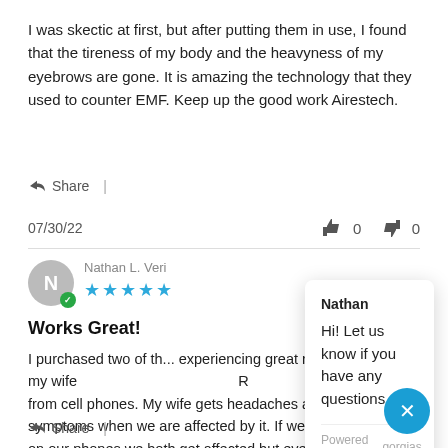I was skectic at first, but after putting them in use, I found that the tireness of my body and the heavyness of my eyebrows are gone. It is amazing the technology that they used to counter EMF. Keep up the good work Airestech.
Share |
07/30/22   👍 0  👎 0
Nathan L. Veri
★★★★★
Works Great!
I purchased two of th... experiencing great re... Just to clarify, my wife... from cell phones. My wife gets headaches and I get a list of symptoms when we are affected by it. If we spend some time on our phones we both get affected but even more s... we are around others wit...Read More
Share |
Nathan
Hi! Let us know if you have any questions.
Powered by gorgias
Click to reply